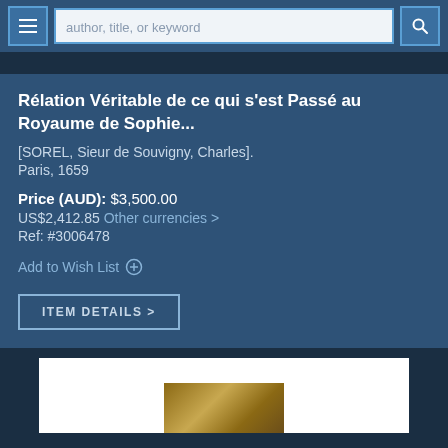author, title, or keyword
Rélation Véritable de ce qui s'est Passé au Royaume de Sophie...
[SOREL, Sieur de Souvigny, Charles].
Paris, 1659
Price (AUD): $3,500.00
US$2,412.85 Other currencies >
Ref: #3006478
Add to Wish List
ITEM DETAILS >
[Figure (photo): Book cover image shown at the bottom of the page, against a white background within a dark frame]